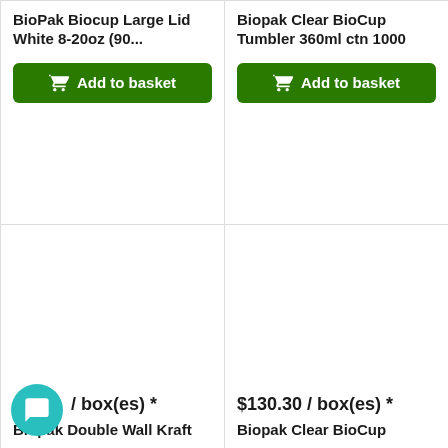BioPak Biocup Large Lid White 8-20oz (90...
Add to basket
Biopak Clear BioCup Tumbler 360ml ctn 1000
Add to basket
$130.30 / box(es) *
Biopak Double Wall Kraft
$130.30 / box(es) *
Biopak Clear BioCup